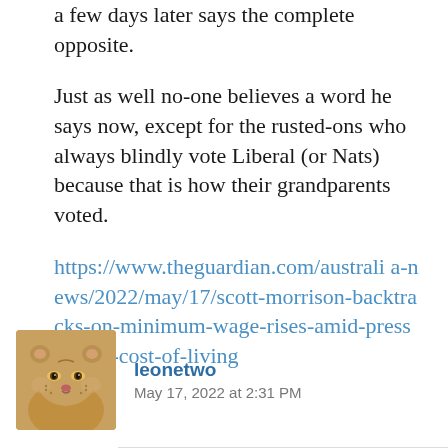a few days later says the complete opposite.
Just as well no-one believes a word he says now, except for the rusted-ons who always blindly vote Liberal (or Nats) because that is how their grandparents voted.
https://www.theguardian.com/australia-news/2022/may/17/scott-morrison-backtracks-on-minimum-wage-rises-amid-pressure-on-cost-of-living
[Figure (photo): Avatar photo of a lioness]
leonetwo
May 17, 2022 at 2:31 PM